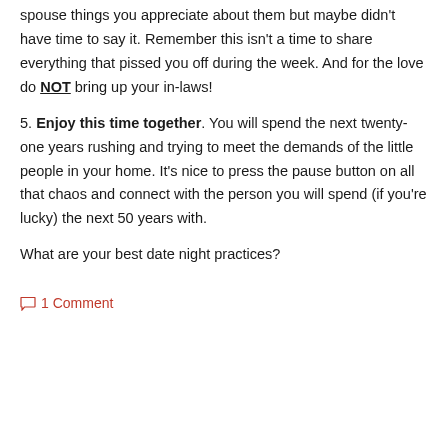spouse things you appreciate about them but maybe didn't have time to say it. Remember this isn't a time to share everything that pissed you off during the week. And for the love do NOT bring up your in-laws!
5. Enjoy this time together. You will spend the next twenty-one years rushing and trying to meet the demands of the little people in your home. It's nice to press the pause button on all that chaos and connect with the person you will spend (if you're lucky) the next 50 years with.
What are your best date night practices?
1 Comment